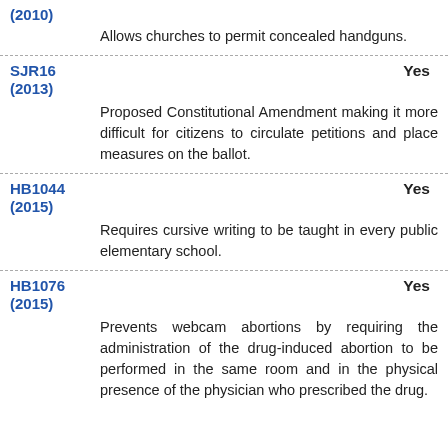(2010)
Allows churches to permit concealed handguns.
SJR16 (2013)
Yes
Proposed Constitutional Amendment making it more difficult for citizens to circulate petitions and place measures on the ballot.
HB1044 (2015)
Yes
Requires cursive writing to be taught in every public elementary school.
HB1076 (2015)
Yes
Prevents webcam abortions by requiring the administration of the drug-induced abortion to be performed in the same room and in the physical presence of the physician who prescribed the drug.